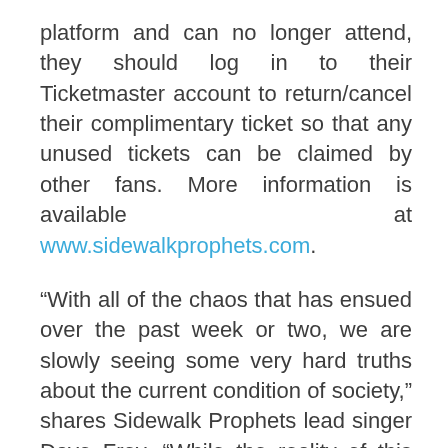platform and can no longer attend, they should log in to their Ticketmaster account to return/cancel their complimentary ticket so that any unused tickets can be claimed by other fans. More information is available at www.sidewalkprophets.com.
“With all of the chaos that has ensued over the past week or two, we are slowly seeing some very hard truths about the current condition of society,” shares Sidewalk Prophets lead singer Dave Frey. “While the reality of this situation can be scary and isolating, it is also giving us a fairly clear indication of the areas we need to work through together. That is probably the most important lesson we are learning right now; it isn’t about ‘me/I’ it is about ‘we/us’. We